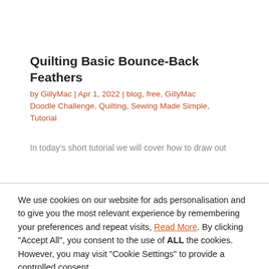Quilting Basic Bounce-Back Feathers
by GillyMac | Apr 1, 2022 | blog, free, GillyMac Doodle Challenge, Quilting, Sewing Made Simple, Tutorial
In today's short tutorial we will cover how to draw out
We use cookies on our website for ads personalisation and to give you the most relevant experience by remembering your preferences and repeat visits, Read More. By clicking "Accept All", you consent to the use of ALL the cookies. However, you may visit "Cookie Settings" to provide a controlled consent.
Cookie Settings | Accept All